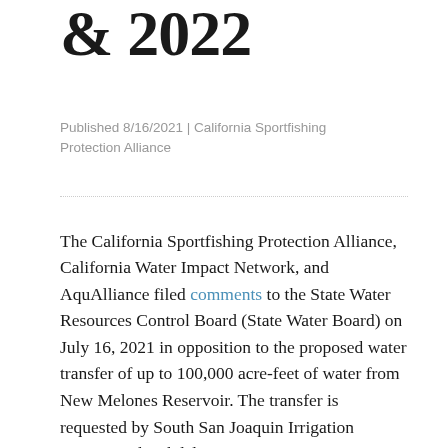& 2022
Published 8/16/2021 | California Sportfishing Protection Alliance
The California Sportfishing Protection Alliance, California Water Impact Network, and AquAlliance filed comments to the State Water Resources Control Board (State Water Board) on July 16, 2021 in opposition to the proposed water transfer of up to 100,000 acre-feet of water from New Melones Reservoir. The transfer is requested by South San Joaquin Irrigation District and Oakdale Irrigation District (Districts). The proposed recipient is the San Luis and Delta-Mendota Water